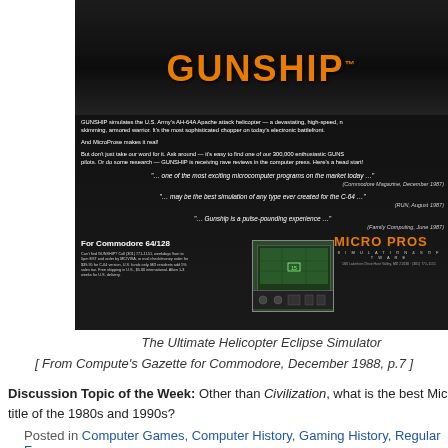[Figure (screenshot): Vintage MicroProse GUNSHIP video game advertisement. Dark background with silhouettes of helicopters. Large orange GUNSHIP logo. Ad text describes the game simulating the U.S. Army's AH-64A Apache attack helicopter. Includes quotes from Commodore Magazine December 1987, RUN August 1987, and Family Computing June 1987. Bottom section shows 'For Commodore 64/128', a cockpit screenshot, and the MicroProse logo in orange.]
The Ultimate Helicopter Eclipse Simulator
[ From Compute's Gazette for Commodore, December 1988, p.7 ]
Discussion Topic of the Week: Other than Civilization, what is the best MicroProse title of the 1980s and 1990s?
Posted in Computer Games, Computer History, Gaming History, Regular Fe...